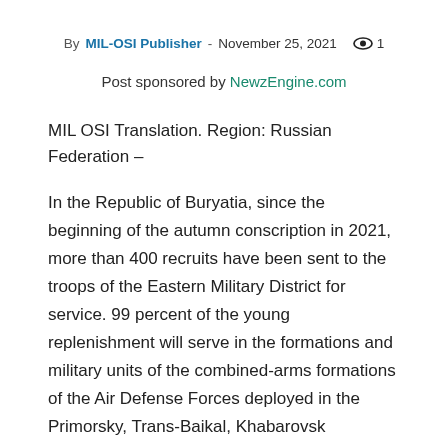By MIL-OSI Publisher - November 25, 2021 👁 1
Post sponsored by NewzEngine.com
MIL OSI Translation. Region: Russian Federation –
In the Republic of Buryatia, since the beginning of the autumn conscription in 2021, more than 400 recruits have been sent to the troops of the Eastern Military District for service. 99 percent of the young replenishment will serve in the formations and military units of the combined-arms formations of the Air Defense Forces deployed in the Primorsky, Trans-Baikal, Khabarovsk Territories, the Republic of Buryatia and in the Pacific Fleet.
At recruiting stations, all recruits are provided with military uniforms of a new type, including winter ones. Everyone is